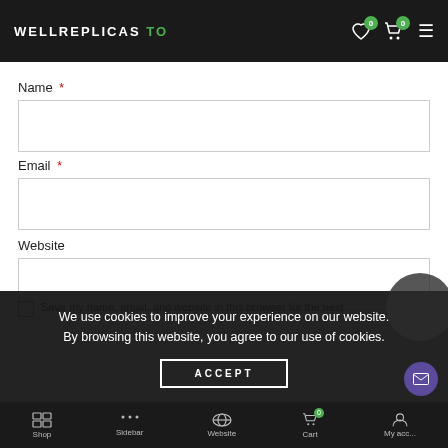WELLREPLICAS TO
Name *
Email *
Website
Save my name, email, and website in this browser for the next
We use cookies to improve your experience on our website. By browsing this website, you agree to our use of cookies.
ACCEPT
Shop  Sidebar  Website  Cart  My acc...